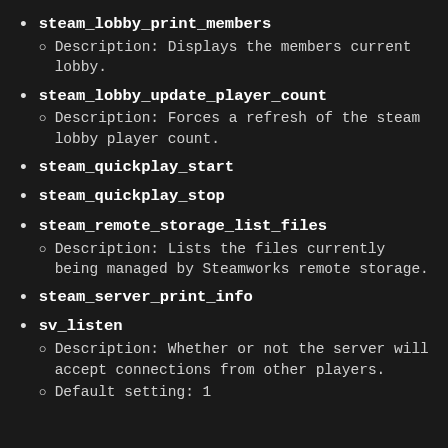steam_lobby_print_members
Description: Displays the members current lobby.
steam_lobby_update_player_count
Description: Forces a refresh of the steam lobby player count.
steam_quickplay_start
steam_quickplay_stop
steam_remote_storage_list_files
Description: Lists the files currently being managed by Steamworks remote storage.
steam_server_print_info
sv_listen
Description: Whether or not the server will accept connections from other players.
Default setting: 1